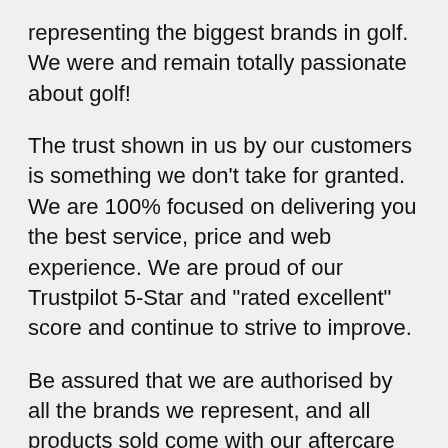representing the biggest brands in golf. We were and remain totally passionate about golf!
The trust shown in us by our customers is something we don't take for granted. We are 100% focused on delivering you the best service, price and web experience. We are proud of our Trustpilot 5-Star and "rated excellent" score and continue to strive to improve.
Be assured that we are authorised by all the brands we represent, and all products sold come with our aftercare promise and a full manufacturer's warranty. We also offer a 60 Day "no-quibble" return policy.
We constantly check our prices against our competitors, making sure we deliver you the best deal, plus offer a further price promise in the